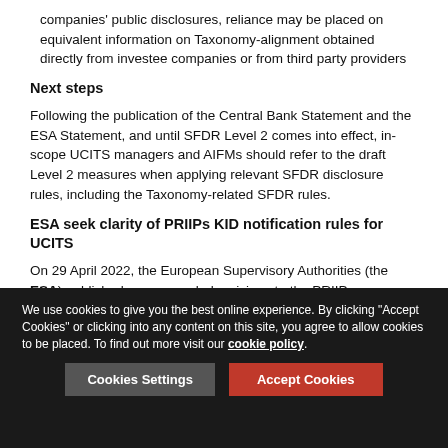companies' public disclosures, reliance may be placed on equivalent information on Taxonomy-alignment obtained directly from investee companies or from third party providers
Next steps
Following the publication of the Central Bank Statement and the ESA Statement, and until SFDR Level 2 comes into effect, in-scope UCITS managers and AIFMs should refer to the draft Level 2 measures when applying relevant SFDR disclosure rules, including the Taxonomy-related SFDR rules.
ESA seek clarity of PRIIPs KID notification rules for UCITS
On 29 April 2022, the European Supervisory Authorities (the ESA) published recommended revisions to the PRIIPs Regulation which were submitted to the Commission in
We use cookies to give you the best online experience. By clicking "Accept Cookies" or clicking into any content on this site, you agree to allow cookies to be placed. To find out more visit our cookie policy.